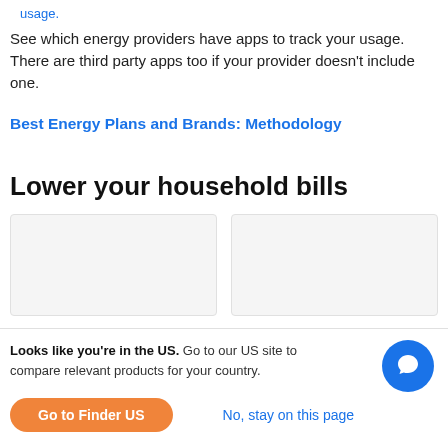usage.
See which energy providers have apps to track your usage. There are third party apps too if your provider doesn't include one.
Best Energy Plans and Brands: Methodology
Lower your household bills
[Figure (other): Two placeholder card boxes for lower your household bills section]
Looks like you're in the US. Go to our US site to compare relevant products for your country.
Go to Finder US
No, stay on this page